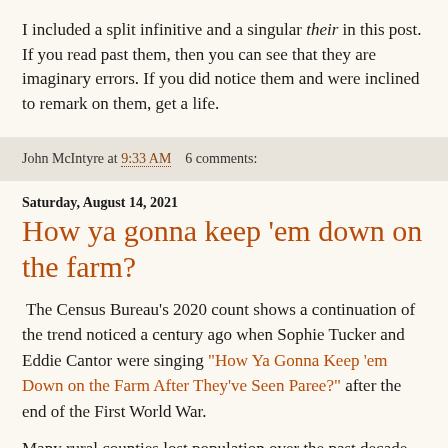I included a split infinitive and a singular their in this post. If you read past them, then you can see that they are imaginary errors. If you did notice them and were inclined to remark on them, get a life.
John McIntyre at 9:33 AM   6 comments:
Saturday, August 14, 2021
How ya gonna keep 'em down on the farm?
The Census Bureau's 2020 count shows a continuation of the trend noticed a century ago when Sophie Tucker and Eddie Cantor were singing "How Ya Gonna Keep 'em Down on the Farm After They've Seen Paree?" after the end of the First World War.
Many rural counties lost population over the past decade while the population of metro areas (cities and suburbs) increased. It's notable what happened within specific segments of the population. White people, who made up 63% of the population ten years ago now amount to 57.3%, continuing a demographic trend that will